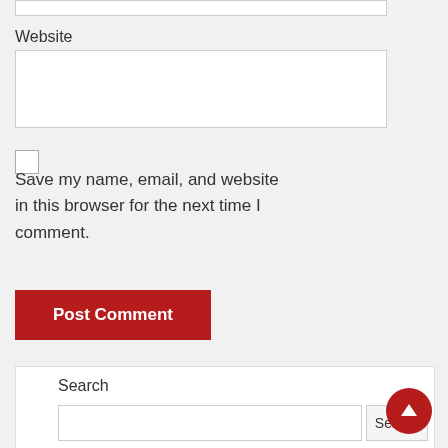Website
Save my name, email, and website in this browser for the next time I comment.
Post Comment
Search
Search